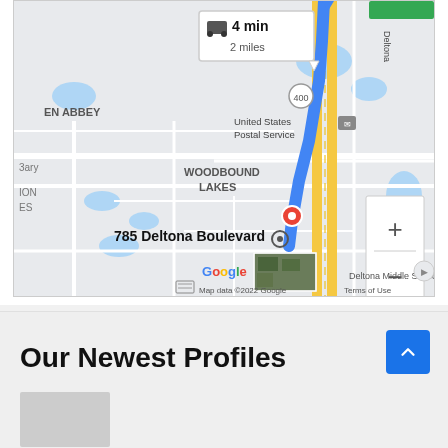[Figure (map): Google Maps screenshot showing driving directions to 785 Deltona Boulevard. Route shown with blue line from top, 4 min / 2 miles callout at top. Areas labeled EN ABBEY, WOODBOUND LAKES, United States Postal Service, Deltona Middle School. Red destination pin at 785 Deltona Boulevard. Map data 2022 Google, Terms of Use shown at bottom.]
Our Newest Profiles